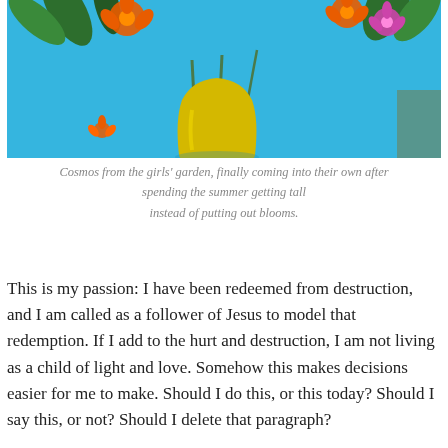[Figure (photo): Photo of orange and pink cosmos flowers in a yellow vase on a bright blue background]
Cosmos from the girls' garden, finally coming into their own after spending the summer getting tall instead of putting out blooms.
This is my passion: I have been redeemed from destruction, and I am called as a follower of Jesus to model that redemption. If I add to the hurt and destruction, I am not living as a child of light and love. Somehow this makes decisions easier for me to make. Should I do this, or this today? Should I say this, or not? Should I delete that paragraph?